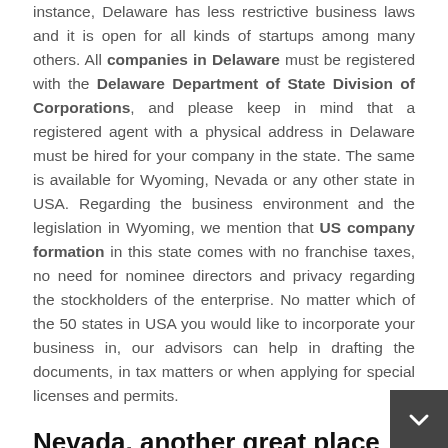instance, Delaware has less restrictive business laws and it is open for all kinds of startups among many others. All companies in Delaware must be registered with the Delaware Department of State Division of Corporations, and please keep in mind that a registered agent with a physical address in Delaware must be hired for your company in the state. The same is available for Wyoming, Nevada or any other state in USA. Regarding the business environment and the legislation in Wyoming, we mention that US company formation in this state comes with no franchise taxes, no need for nominee directors and privacy regarding the stockholders of the enterprise. No matter which of the 50 states in USA you would like to incorporate your business in, our advisors can help in drafting the documents, in tax matters or when applying for special licenses and permits.
Nevada, another great place for business in USA
Nevada is another American state where many entrepreneurs interested in setting up a company in the US